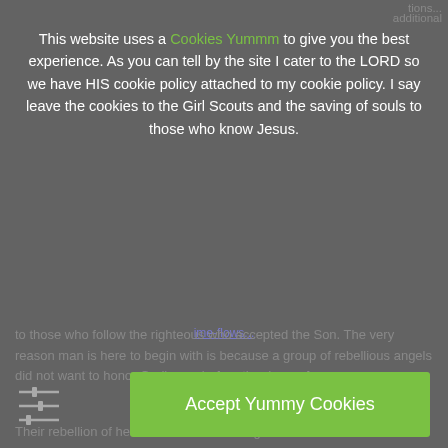This website uses a Cookies Yummm to give you the best experience.  As you can tell by the site I cater to the LORD so we have HIS cookie policy attached to my cookie policy.  I say leave the cookies to the Girl Scouts and the saving of souls to those who know Jesus.
[Figure (infographic): Slider/equalizer icon with horizontal lines and sliders on the left side]
Accept Yummy Cookies
Decline Cookies
to those who follow the righteous who accepted the Son. The very reason man is here to begin with is because a group of rebellious angels did not want to honor God's son before the dawn of man.
Their rebellion of heaven led to the making of man here on the earth.